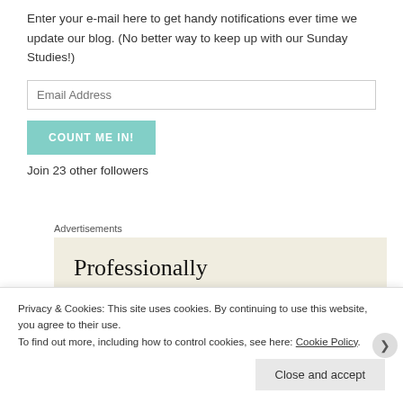Enter your e-mail here to get handy notifications ever time we update our blog. (No better way to keep up with our Sunday Studies!)
Email Address
COUNT ME IN!
Join 23 other followers
Advertisements
[Figure (screenshot): Advertisement banner with beige background showing text 'Professionally designed sites in less']
Privacy & Cookies: This site uses cookies. By continuing to use this website, you agree to their use.
To find out more, including how to control cookies, see here: Cookie Policy
Close and accept